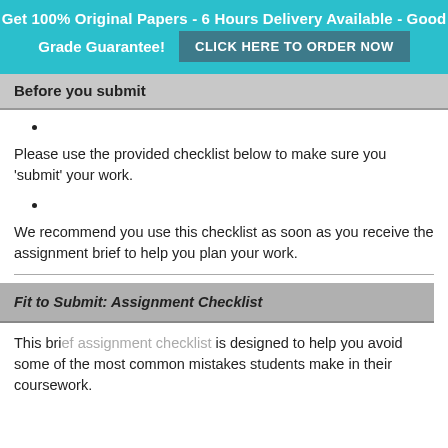Get 100% Original Papers - 6 Hours Delivery Available - Good Grade Guarantee! CLICK HERE TO ORDER NOW
Before you submit
Please use the provided checklist below to make sure you 'submit' your work.
We recommend you use this checklist as soon as you receive the assignment brief to help you plan your work.
Fit to Submit: Assignment Checklist
This brief assignment checklist is designed to help you avoid some of the most common mistakes students make in their coursework.